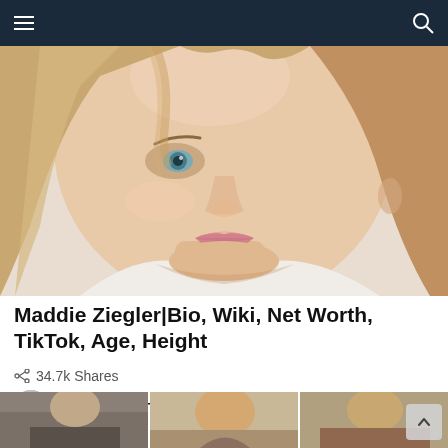Navigation bar with hamburger menu and search icon
[Figure (photo): Close-up selfie of a young blonde woman with blue-green eyes and light skin, hair down, wearing a white top, against a light background]
Maddie Ziegler|Bio, Wiki, Net Worth, TikTok, Age, Height
34.7k Shares
by VideoFeed TV  about a year ago
[Figure (photo): Bottom strip showing partial thumbnails of additional article images including a woman and a man]